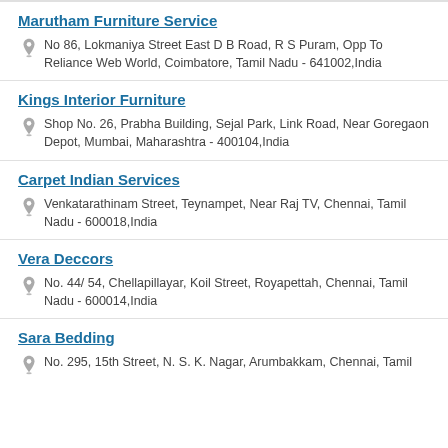Marutham Furniture Service
No 86, Lokmaniya Street East D B Road, R S Puram, Opp To Reliance Web World, Coimbatore, Tamil Nadu - 641002,India
Kings Interior Furniture
Shop No. 26, Prabha Building, Sejal Park, Link Road, Near Goregaon Depot, Mumbai, Maharashtra - 400104,India
Carpet Indian Services
Venkatarathinam Street, Teynampet, Near Raj TV, Chennai, Tamil Nadu - 600018,India
Vera Deccors
No. 44/ 54, Chellapillayar, Koil Street, Royapettah, Chennai, Tamil Nadu - 600014,India
Sara Bedding
No. 295, 15th Street, N. S. K. Nagar, Arumbakkam, Chennai, Tamil